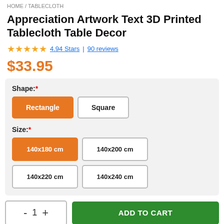HOME / TABLECLOTH
Appreciation Artwork Text 3D Printed Tablecloth Table Decor
4.94 Stars | 90 reviews
$33.95
Shape: * Rectangle | Square
Size: * 140x180 cm | 140x200 cm | 140x220 cm | 140x240 cm
- 1 + ADD TO CART